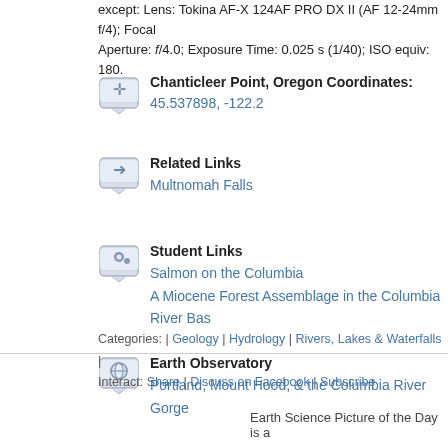except: Lens: Tokina AF-X 124AF PRO DX II (AF 12-24mm f/4); Focal Aperture: f/4.0; Exposure Time: 0.025 s (1/40); ISO equiv: 180.
Chanticleer Point, Oregon Coordinates: 45.537898, -122.2...
Related Links
Multnomah Falls
Student Links
Salmon on the Columbia
A Miocene Forest Assemblage in the Columbia River Bas...
Earth Observatory
Portland, Mount Hood, & the Columbia River Gorge
[11/18]
Categories: | Geology | Hydrology | Rivers, Lakes & Waterfalls |
Interact: Share | Discuss on Facebook | Subscribe
Earth Science Picture of the Day is a